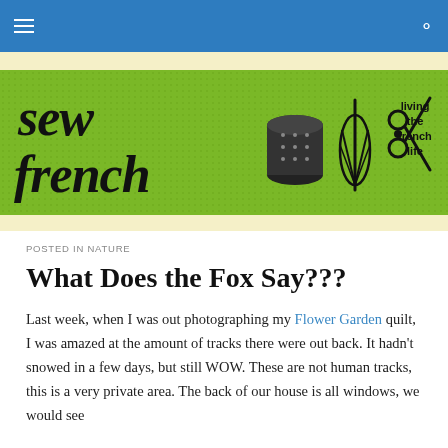Navigation bar with hamburger menu and search icon
[Figure (logo): Sew French blog banner on green background with bold serif 'sew french' text, thimble icon, whisk icon, scissors icon, and tagline 'living the french life']
POSTED IN NATURE
What Does the Fox Say???
Last week, when I was out photographing my Flower Garden quilt, I was amazed at the amount of tracks there were out back. It hadn't snowed in a few days, but still WOW. These are not human tracks, this is a very private area. The back of our house is all windows, we would see